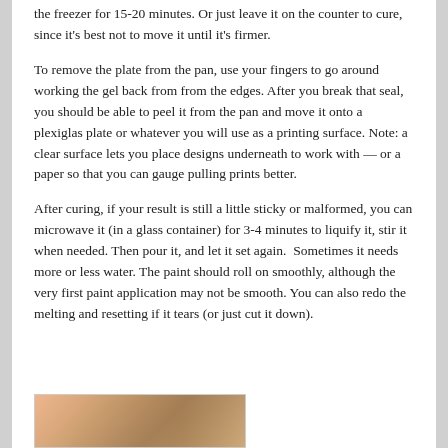the freezer for 15-20 minutes. Or just leave it on the counter to cure, since it's best not to move it until it's firmer.
To remove the plate from the pan, use your fingers to go around working the gel back from from the edges. After you break that seal, you should be able to peel it from the pan and move it onto a plexiglas plate or whatever you will use as a printing surface. Note: a clear surface lets you place designs underneath to work with — or a paper so that you can gauge pulling prints better.
After curing, if your result is still a little sticky or malformed, you can microwave it (in a glass container) for 3-4 minutes to liquify it, stir it when needed. Then pour it, and let it set again.  Sometimes it needs more or less water. The paint should roll on smoothly, although the very first paint application may not be smooth. You can also redo the melting and resetting if it tears (or just cut it down).
[Figure (photo): Partial view of a gel printing plate or material, showing warm pinkish-tan tones, partially visible at the bottom of the page.]